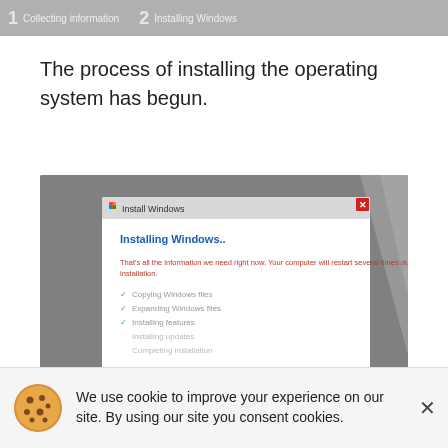1 Collecting information  2 Installing Windows
The process of installing the operating system has begun.
[Figure (screenshot): Windows 7 installation dialog showing 'Installing Windows...' screen with progress checklist: Copying Windows files (checked), Expanding Windows files (checked), Installing features (checked), Installing updates, Completing installation. Red text reads: That's all the information we need right now. Your computer will restart several times during installation.]
We use cookie to improve your experience on our site. By using our site you consent cookies.